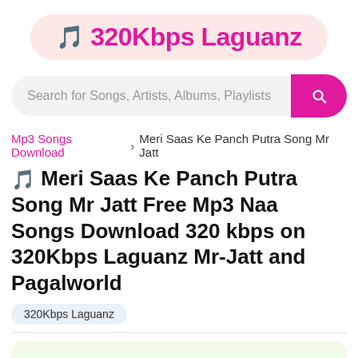🎵 320Kbps Laguanz
Search for Songs, Artists, Albums, Playlists
Mp3 Songs Download › Meri Saas Ke Panch Putra Song Mr Jatt
🎵 Meri Saas Ke Panch Putra Song Mr Jatt Free Mp3 Naa Songs Download 320 kbps on 320Kbps Laguanz Mr-Jatt and Pagalworld
320Kbps Laguanz
"320Kbps Laguanz - Meri Saas Ke Panch Putra Song Mr Jatt" Free Mp3 Songs Maango Download. meri saas ke panch putra the HD meri saas ke panch putra Mr-Jatt 00